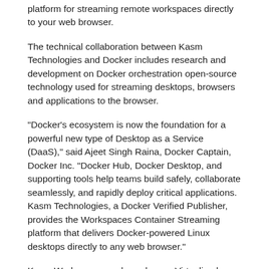platform for streaming remote workspaces directly to your web browser.
The technical collaboration between Kasm Technologies and Docker includes research and development on Docker orchestration open-source technology used for streaming desktops, browsers and applications to the browser.
"Docker's ecosystem is now the foundation for a powerful new type of Desktop as a Service (DaaS)," said Ajeet Singh Raina, Docker Captain, Docker Inc. "Docker Hub, Docker Desktop, and supporting tools help teams build safely, collaborate seamlessly, and rapidly deploy critical applications. Kasm Technologies, a Docker Verified Publisher, provides the Workspaces Container Streaming platform that delivers Docker-powered Linux desktops directly to any web browser."
Kasm Workspaces replaces legacy Virtualized Desktop Infrastructure (VDI) offerings like Citrix Workspaces and VMWare Horizons by leveraging Docker containers rather than full-stack operating systems. The Docker ecosystem provides the Workspaces Container Streaming solutions — each with some noteworthy advantages over traditional platforms: